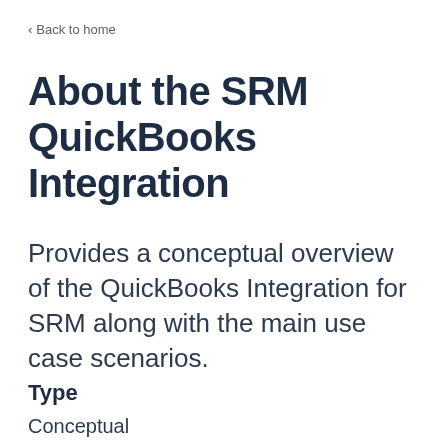< Back to home
About the SRM QuickBooks Integration
Provides a conceptual overview of the QuickBooks Integration for SRM along with the main use case scenarios.
Type
Conceptual